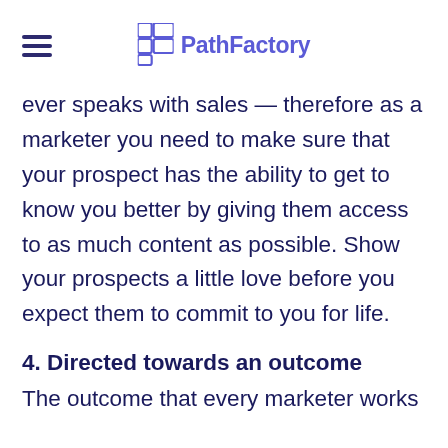PathFactory
ever speaks with sales — therefore as a marketer you need to make sure that your prospect has the ability to get to know you better by giving them access to as much content as possible. Show your prospects a little love before you expect them to commit to you for life.
4. Directed towards an outcome
The outcome that every marketer works